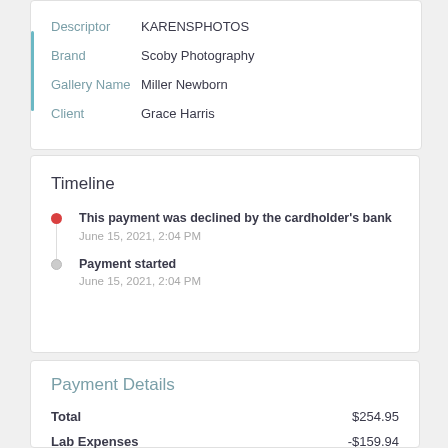Descriptor   KARENSPHOTOS
Brand   Scoby Photography
Gallery Name   Miller Newborn
Client   Grace Harris
Timeline
This payment was declined by the cardholder's bank
June 15, 2021, 2:04 PM
Payment started
June 15, 2021, 2:04 PM
Payment Details
Total   $254.95
Lab Expenses   -$159.94
Lab Credit   $0.00